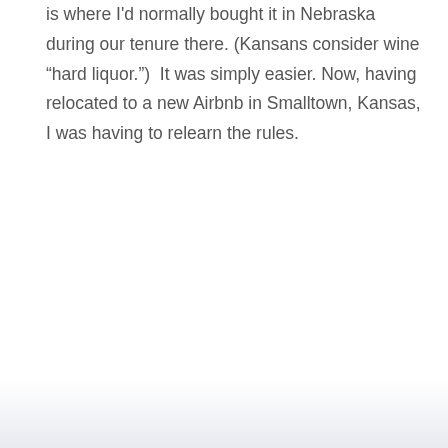is where I'd normally bought it in Nebraska during our tenure there. (Kansans consider wine “hard liquor.”)  It was simply easier. Now, having relocated to a new Airbnb in Smalltown, Kansas, I was having to relearn the rules.
« Older Entries